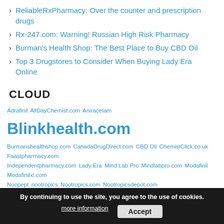ReliableRxPharmacy: Over the counter and prescription drugs
Rx-247.com: Warning! Russian High Risk Pharmacy
Burman's Health Shop: The Best Place to Buy CBD Oil
Top 3 Drugstores to Consider When Buying Lady Era Online
CLOUD
Adrafinil AllDayChemist.com Aniracetam Blinkhealth.com Burmanshealthshop.com CanadaDrugDirect.com CBD Oil ChemistClick.co.uk Faastpharmacy.com Independentpharmacy.com Lady Era Mind Lab Pro Mindlabpro.com Modafinil Modafinilxl.com Noopept nootropics Nootropics.com Nootropicsdepot.com NorthWestPharmacy.com Onlinedoctorsuperdrug.com Over The Counter Pharmacity.net Pharmacytouk.com Phenylpiracetam Pilocarpine...
By continuing to use the site, you agree to the use of cookies. more information Accept